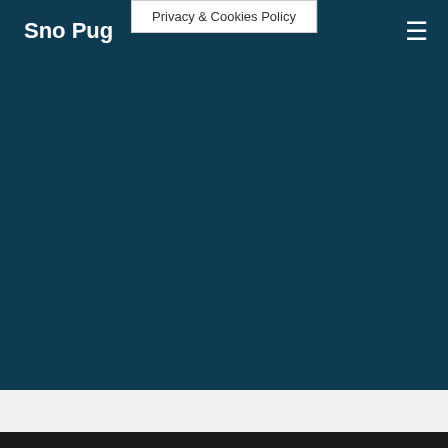Sno Pug
Privacy & Cookies Policy
How Does One Go About Becoming a Pilot?